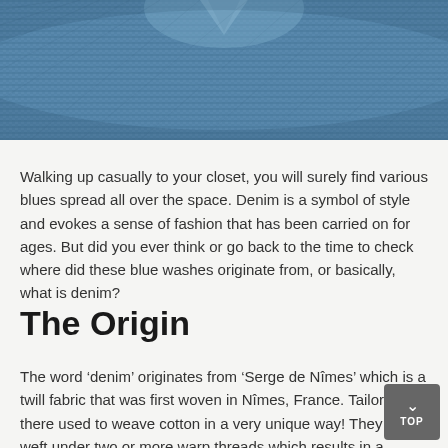[Figure (photo): Close-up photograph of blue denim fabric texture with a collar/button detail visible at the top center.]
Walking up casually to your closet, you will surely find various blues spread all over the space. Denim is a symbol of style and evokes a sense of fashion that has been carried on for ages. But did you ever think or go back to the time to check where did these blue washes originate from, or basically, what is denim?
The Origin
The word ‘denim’ originates from ‘Serge de Nîmes’ which is a twill fabric that was first woven in Nîmes, France. Tailors there used to weave cotton in a very unique way! They pass weft under two or more warp threads which results in a strong fabric. Indigo is used to